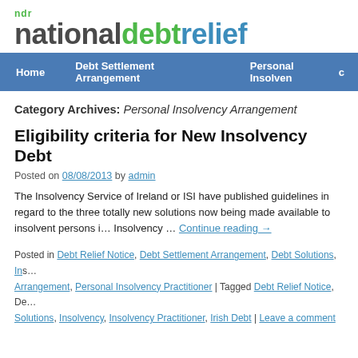[Figure (logo): NDR National Debt Relief logo with green and blue text]
Home | Debt Settlement Arrangement | Personal Insolvenc…
Category Archives: Personal Insolvency Arrangement
Eligibility criteria for New Insolvency Debt…
Posted on 08/08/2013 by admin
The Insolvency Service of Ireland or ISI have published guidelines in regard to the three totally new solutions now being made available to insolvent persons i… Insolvency … Continue reading →
Posted in Debt Relief Notice, Debt Settlement Arrangement, Debt Solutions, Ins… Arrangement, Personal Insolvency Practitioner | Tagged Debt Relief Notice, De… Solutions, Insolvency, Insolvency Practitioner, Irish Debt | Leave a comment